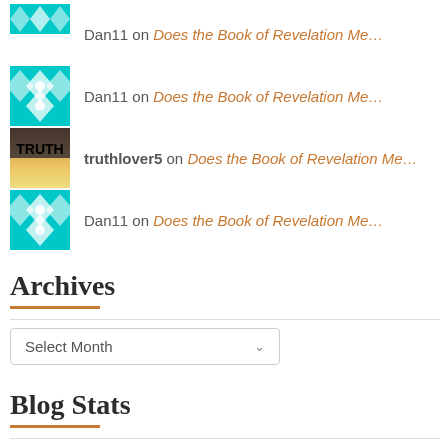Dan11 on Does the Book of Revelation Me…
Dan11 on Does the Book of Revelation Me…
truthlover5 on Does the Book of Revelation Me…
Dan11 on Does the Book of Revelation Me…
Archives
Select Month
Blog Stats
516,962 hits